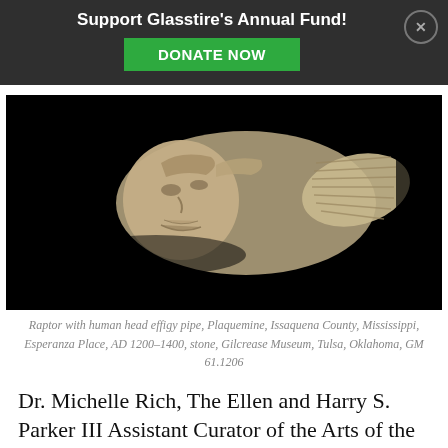Support Glasstire's Annual Fund! DONATE NOW
[Figure (photo): Stone effigy pipe carved as a raptor with a human head, photographed against a black background. The stone carving shows detailed feather textures and facial features.]
Raptor with human head effigy pipe, Plaquemine, Issaquena County, Mississippi, Esperanza Place, AD 1200–1400, stone, Gilcrease Museum, Tulsa, Oklahoma, GM 61.1206
Dr. Michelle Rich, The Ellen and Harry S. Parker III Assistant Curator of the Arts of the Americas at the DMA, stated, “Spirit Lodge